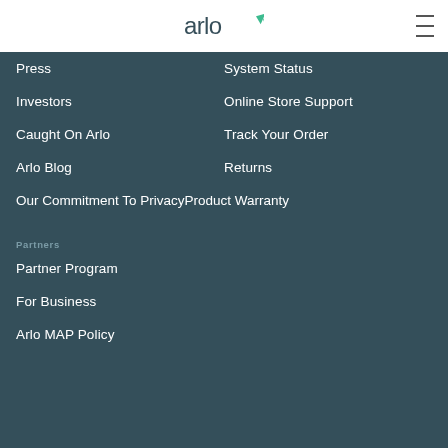arlo
Press
System Status
Investors
Online Store Support
Caught On Arlo
Track Your Order
Arlo Blog
Returns
Our Commitment To Privacy
Product Warranty
Partners
Partner Program
For Business
Arlo MAP Policy